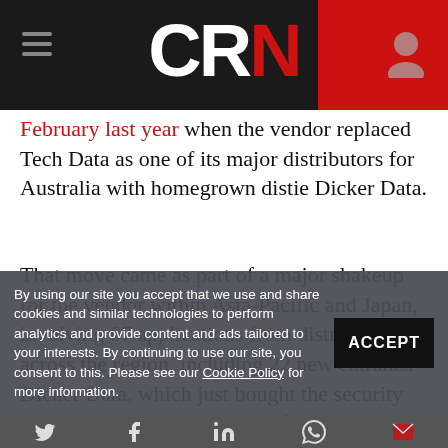CRN
February last year when the vendor replaced Tech Data as one of its major distributors for Australia with homegrown distie Dicker Data.
That move came as part of a major shakeup for the vendor within Asia-Pacific and Japan, involving 67 applications from distributors across the region, including 22 new entrants. Dicker Data, which just bought the security and IT distribution business of Hills Limited, was the only new distie appointment across APJ.
By using our site you accept that we use and share cookies and similar technologies to perform analytics and provide content and ads tailored to your interests. By continuing to use our site, you consent to this. Please see our Cookie Policy for more information.